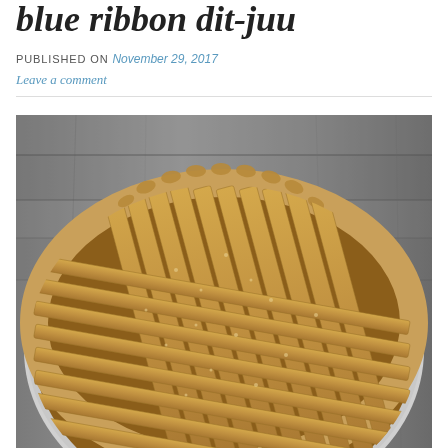blue ribbon dit-juu
PUBLISHED ON November 29, 2017
Leave a comment
[Figure (photo): Overhead view of an apple pie with a woven lattice crust, golden-brown and sprinkled with sugar, set on a rustic wood background.]